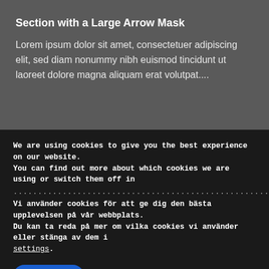Section with a Large Arrow Mask
Lorem ipsum dolor sit amet, consectetuer adipiscing elit, sed diam nonummy nibh euismod tincidunt ut laoreet dolore magna aliquam erat volutpat....
We are using cookies to give you the best experience on our website.
You can find out more about which cookies we are using or switch them off in
................................................................................................
Vi använder cookies för att ge dig den bästa upplevelsen på vår webbplats.
Du kan ta reda på mer om vilka cookies vi använder eller stänga av dem i
settings.
Accept